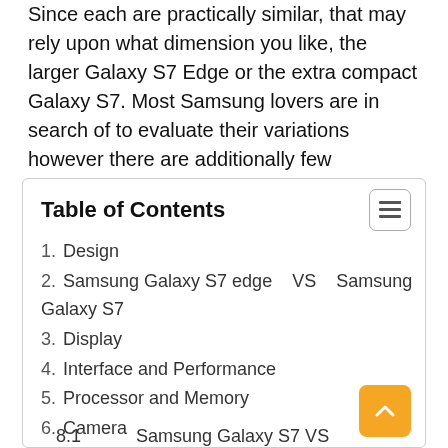Since each are practically similar, that may rely upon what dimension you like, the larger Galaxy S7 Edge or the extra compact Galaxy S7. Most Samsung lovers are in search of to evaluate their variations however there are additionally few questions begging to be answered.
Table of Contents
1. Design
2. Samsung Galaxy S7 edge   VS   Samsung Galaxy S7
3. Display
4. Interface and Performance
5. Processor and Memory
6. Camera
7. Battery life
8. FULL SPECIFICATION
8.1         Samsung Galaxy S7 VS